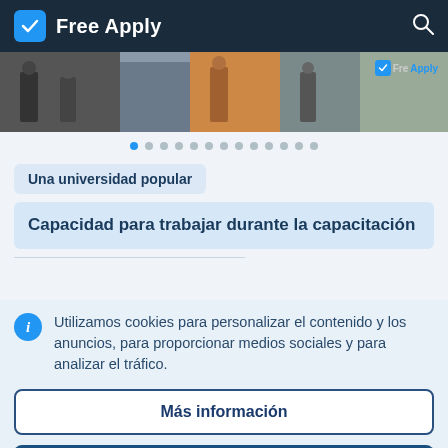Free Apply
[Figure (photo): Cropped photo showing people in work/training attire, with a Free Apply logo badge overlay in the top right corner]
[Figure (other): Pagination dots indicator, 13 dots total, first dot active/blue]
Una universidad popular
Capacidad para trabajar durante la capacitación
Utilizamos cookies para personalizar el contenido y los anuncios, para proporcionar medios sociales y para analizar el tráfico.
Más información
Aceptar